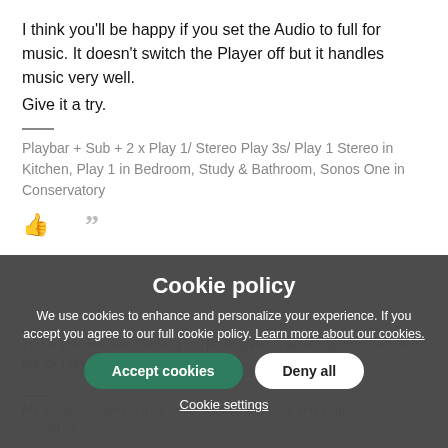I think you'll be happy if you set the Audio to full for music. It doesn't switch the Player off but it handles music very well.
Give it a try.
Playbar + Sub + 2 x Play 1/ Stereo Play 3s/ Play 1 Stereo in Kitchen, Play 1 in Bedroom, Study & Bathroom, Sonos One in Conservatory
[Figure (infographic): Thumbs up icon and quotation mark icon row]
Cookie policy
We use cookies to enhance and personalize your experience. If you accept you agree to our full cookie policy. Learn more about our cookies.
Accept cookies | Deny all | Cookie settings
I think you are over thinking it. The PlayBar is amazing for music with the 2x Play1...
My Sonos system is rock solid most of the time and your system should be too!